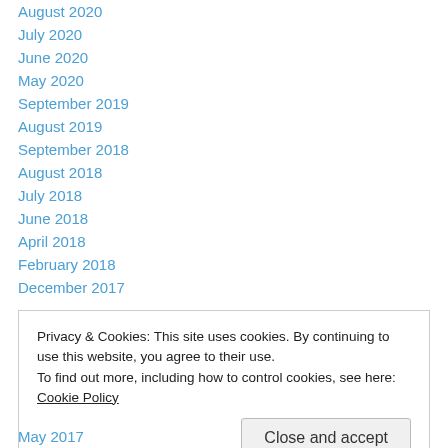August 2020
July 2020
June 2020
May 2020
September 2019
August 2019
September 2018
August 2018
July 2018
June 2018
April 2018
February 2018
December 2017
Privacy & Cookies: This site uses cookies. By continuing to use this website, you agree to their use.
To find out more, including how to control cookies, see here: Cookie Policy
Close and accept
May 2017